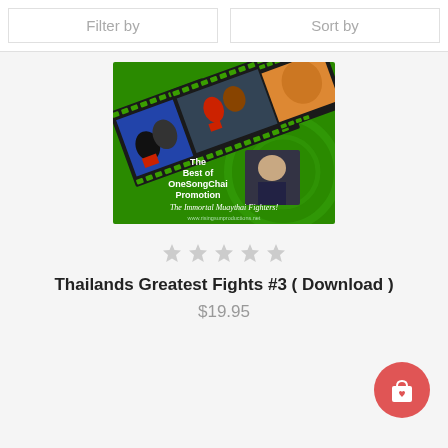Filter by | Sort by
[Figure (photo): Product thumbnail showing a Muay Thai fights film strip on green background with text 'The Best of OneSongChai Promotion - The Immortal Muaythai Fighters! www.risingsunproductions.net']
★★★★★
Thailands Greatest Fights #3 ( Download )
$19.95